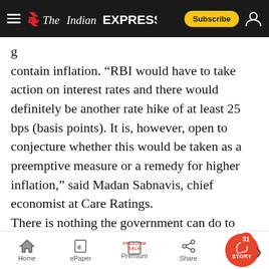The Indian EXPRESS | Subscribe
contain inflation. “RBI would have to take action on interest rates and there would definitely be another rate hike of at least 25 bps (basis points). It is, however, open to conjecture whether this would be taken as a preemptive measure or a remedy for higher inflation,” said Madan Sabnavis, chief economist at Care Ratings. There is nothing the government can do to check the rise in global crude oil prices, nor can it do much to check the fall of the rupee as it is driven mostly by external factors. The RBI, however, intervenes intermittently to check excessive
Home | ePaper | Premium | Share | STORY